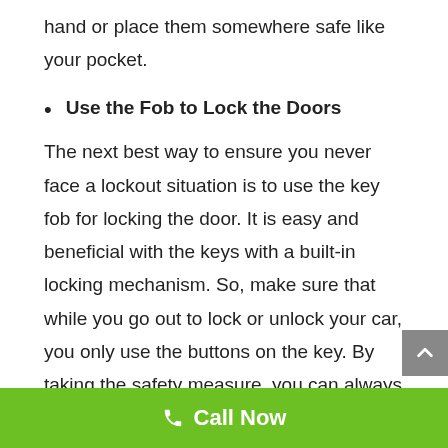hand or place them somewhere safe like your pocket.
Use the Fob to Lock the Doors
The next best way to ensure you never face a lockout situation is to use the key fob for locking the door. It is easy and beneficial with the keys with a built-in locking mechanism. So, make sure that while you go out to lock or unlock your car, you only use the buttons on the key. By taking the safety measure, you can always ensure that you have your keys with
Call Now